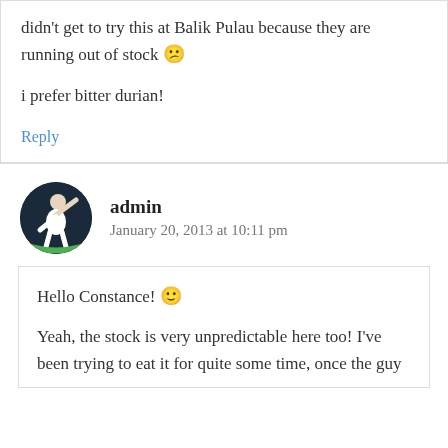didn't get to try this at Balik Pulau because they are running out of stock 😕
i prefer bitter durian!
Reply
admin
January 20, 2013 at 10:11 pm
Hello Constance! 🙂
Yeah, the stock is very unpredictable here too! I've been trying to eat it for quite some time, once the guy